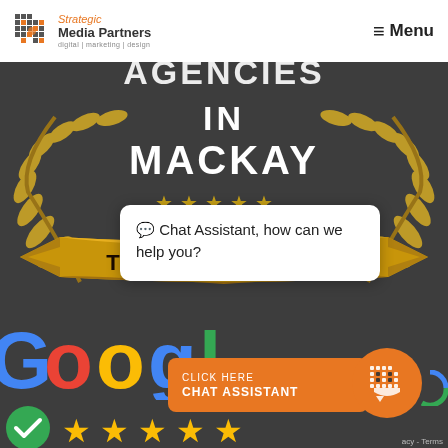[Figure (logo): Strategic Media Partners logo — grid icon on left, company name and tagline on right]
≡ Menu
[Figure (illustration): Three Best Rated award badge for top marketing agencies in Mackay — gold laurel wreath, five stars, gold ribbon reading THREE BEST RATED, white text reading AGENCIES IN MACKAY]
[Figure (screenshot): Google logo partially visible in lower dark area, with chat assistant popup overlay and orange CLICK HERE / CHAT ASSISTANT button, chat icon circle, and partial Google star rating row at bottom]
💬 Chat Assistant, how can we help you?
CLICK HERE
CHAT ASSISTANT
acy - Terms